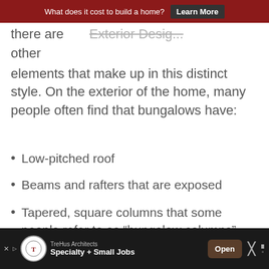What does it cost to build a home? Learn More
there are   Exterior Desig...
other
elements that make up in this distinct style. On the exterior of the home, many people often find that bungalows have:
Low-pitched roof
Beams and rafters that are exposed
Tapered, square columns that some people refer to as “bungalow columns”
A front porch or veranda that’s modest in size
TreHus Architects Specialty + Small Jobs Open